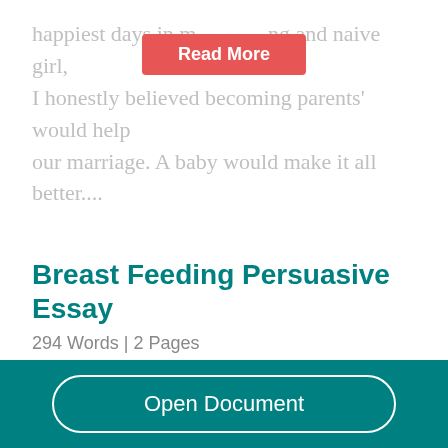happiest days in my life. As a young and naive girl, I honestly believed becoming parents' would help our marriage. A baby would make it all better....
Read More
Breast Feeding Persuasive Essay
294 Words  | 2 Pages
It delays the return of menstrual periods and helps in spacing pregnancies. Breast feeding also reduces the risk of breast and ovarian cancers. Breast...
Open Document